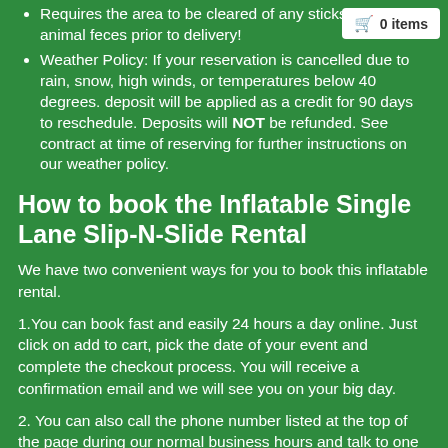Requires the area to be cleared of any sticks, rocks, and animal feces prior to delivery!
Weather Policy: If your reservation is cancelled due to rain, snow, high winds, or temperatures below 40 degrees. deposit will be applied as a credit for 90 days to reschedule. Deposits will NOT be refunded. See contract at time of reserving for further instructions on our weather policy.
How to book the Inflatable Single Lane Slip-N-Slide Rental
We have two convenient ways for you to book this inflatable rental.
1.You can book fast and easily 24 hours a day online. Just click on add to cart, pick the date of your event and complete the checkout process. You will receive a confirmation email and we will see you on your big day.
2. You can also call the phone number listed at the top of the page during our normal business hours and talk to one of our trained party planners and they will be happy to